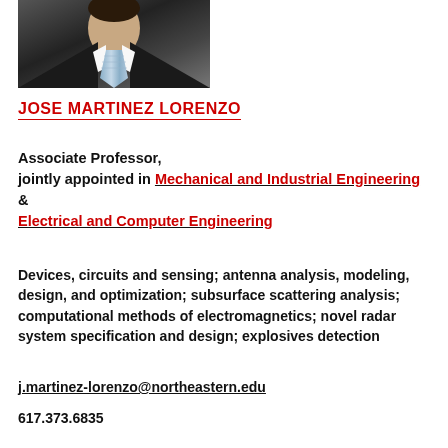[Figure (photo): Headshot photo of Jose Martinez Lorenzo in a dark suit with a light blue tie]
JOSE MARTINEZ LORENZO
Associate Professor,
jointly appointed in Mechanical and Industrial Engineering & Electrical and Computer Engineering
Devices, circuits and sensing; antenna analysis, modeling, design, and optimization; subsurface scattering analysis; computational methods of electromagnetics; novel radar system specification and design; explosives detection
j.martinez-lorenzo@northeastern.edu
617.373.6835